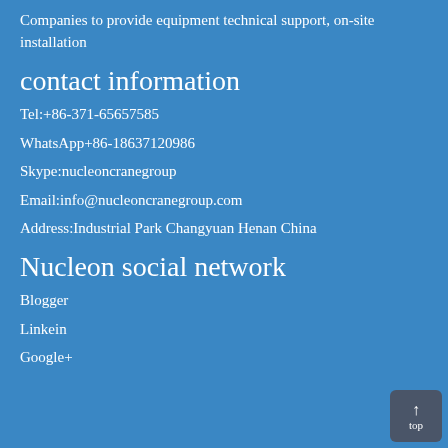Companies to provide equipment technical support, on-site installation
contact information
Tel:+86-371-65657585
WhatsApp+86-18637120986
Skype:nucleoncranegroup
Email:info@nucleoncranegroup.com
Address:Industrial Park Changyuan Henan China
Nucleon social network
Blogger
Linkein
Google+